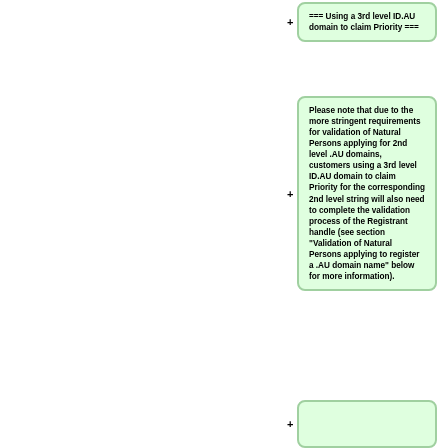=== Using a 3rd level ID.AU domain to claim Priority ===
Please note that due to the more stringent requirements for validation of Natural Persons applying for 2nd level .AU domains, customers using a 3rd level ID.AU domain to claim Priority for the corresponding 2nd level string will also need to complete the validation process of the Registrant handle (see section "Validation of Natural Persons applying to register a .AU domain name" below for more information).